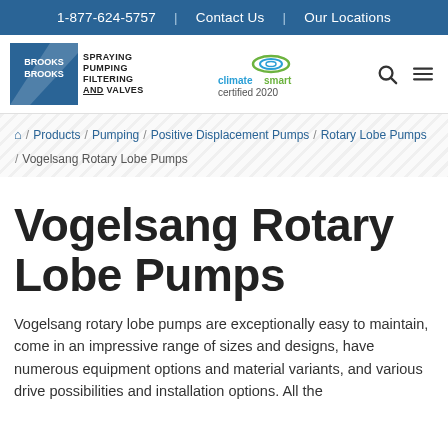1-877-624-5757 | Contact Us | Our Locations
[Figure (logo): Brooks spraying pumping filtering and valves logo with ClimateSmart Certified 2020 logo]
🏠 / Products / Pumping / Positive Displacement Pumps / Rotary Lobe Pumps / Vogelsang Rotary Lobe Pumps
Vogelsang Rotary Lobe Pumps
Vogelsang rotary lobe pumps are exceptionally easy to maintain, come in an impressive range of sizes and designs, have numerous equipment options and material variants, and various drive possibilities and installation options. All the